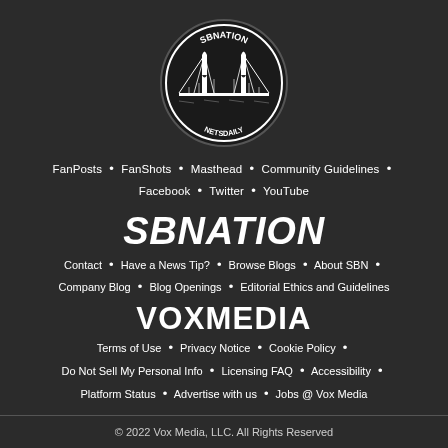[Figure (logo): SBNation NetsDaily circular logo with Brooklyn Bridge illustration]
FanPosts • FanShots • Masthead • Community Guidelines • Facebook • Twitter • YouTube
SBNATION
Contact • Have a News Tip? • Browse Blogs • About SBN • Company Blog • Blog Openings • Editorial Ethics and Guidelines
VOXMEDIA
Terms of Use • Privacy Notice • Cookie Policy • Do Not Sell My Personal Info • Licensing FAQ • Accessibility • Platform Status • Advertise with us • Jobs @ Vox Media
© 2022 Vox Media, LLC. All Rights Reserved